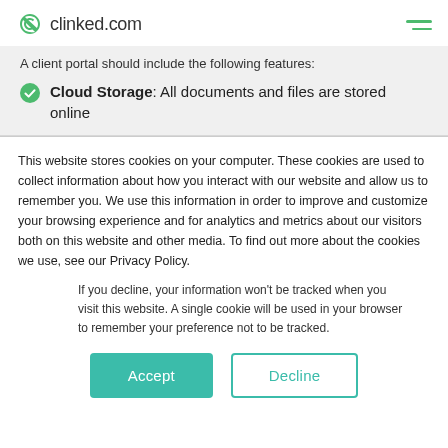clinked.com
A client portal should include the following features:
Cloud Storage: All documents and files are stored online
This website stores cookies on your computer. These cookies are used to collect information about how you interact with our website and allow us to remember you. We use this information in order to improve and customize your browsing experience and for analytics and metrics about our visitors both on this website and other media. To find out more about the cookies we use, see our Privacy Policy.
If you decline, your information won't be tracked when you visit this website. A single cookie will be used in your browser to remember your preference not to be tracked.